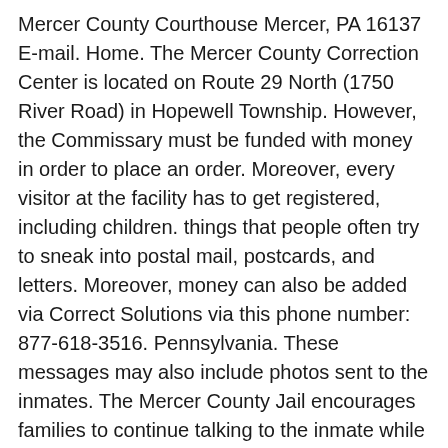Mercer County Courthouse Mercer, PA 16137 E-mail. Home. The Mercer County Correction Center is located on Route 29 North (1750 River Road) in Hopewell Township. However, the Commissary must be funded with money in order to place an order. Moreover, every visitor at the facility has to get registered, including children. things that people often try to sneak into postal mail, postcards, and letters. Moreover, money can also be added via Correct Solutions via this phone number: 877-618-3516. Pennsylvania. These messages may also include photos sent to the inmates. The Mercer County Jail encourages families to continue talking to the inmate while they are in their care. Mercer County Jail Report. The Mercer County Inmate Search (Illinois) links below open in a new window and take you to third party websites that provide access to Mercer County public records. the arresting agency and does not necessarily reflect actual court charges or The Mercer County Jail is located in Stanton, North Dakota. In case a photograph is to be sent, $1 has to be paid by the inmate's friends and family. Mercer County Jail offender lookup: